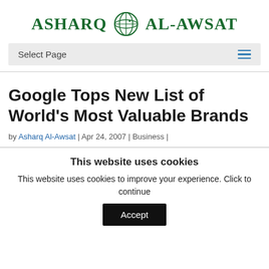[Figure (logo): Asharq Al-Awsat newspaper logo with globe icon in dark green]
Select Page
Google Tops New List of World’s Most Valuable Brands
by Asharq Al-Awsat | Apr 24, 2007 | Business |
This website uses cookies
This website uses cookies to improve your experience. Click to continue
Accept